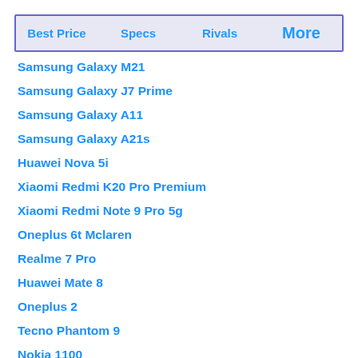Best Price | Specs | Rivals | More
Samsung Galaxy M21
Samsung Galaxy J7 Prime
Samsung Galaxy A11
Samsung Galaxy A21s
Huawei Nova 5i
Xiaomi Redmi K20 Pro Premium
Xiaomi Redmi Note 9 Pro 5g
Oneplus 6t Mclaren
Realme 7 Pro
Huawei Mate 8
Oneplus 2
Tecno Phantom 9
Nokia 1100